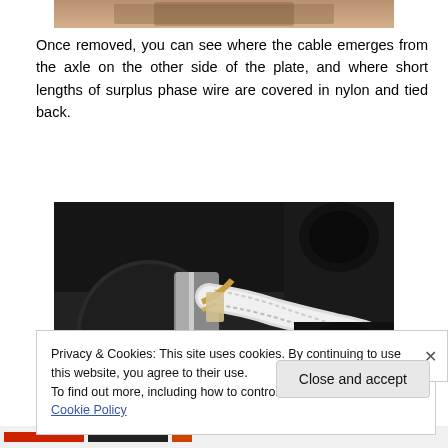[Figure (photo): Partial top view of a mechanical/electrical component, cropped at top of page]
Once removed, you can see where the cable emerges from the axle on the other side of the plate, and where short lengths of surplus phase wire are covered in nylon and tied back.
[Figure (photo): Close-up photograph of a motor axle or shaft with white braided nylon-covered wires/cables wrapped around it and tied back, showing the cable routing on the mechanical assembly]
Privacy & Cookies: This site uses cookies. By continuing to use this website, you agree to their use.
To find out more, including how to control cookies, see here: Cookie Policy
Close and accept